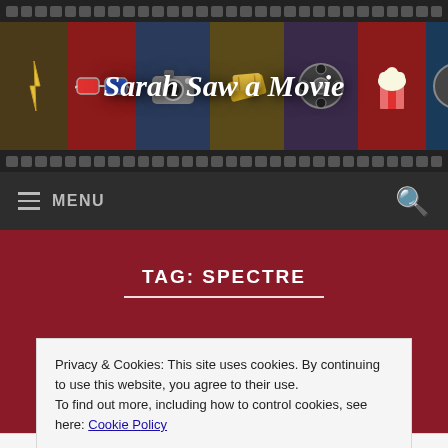[Figure (screenshot): Website header for 'Sarah Saw a Movie' blog with film strip design, movie-themed icon tiles, and site title in white italic text]
≡ MENU
TAG: SPECTRE
Privacy & Cookies: This site uses cookies. By continuing to use this website, you agree to their use.
To find out more, including how to control cookies, see here: Cookie Policy
Close and accept